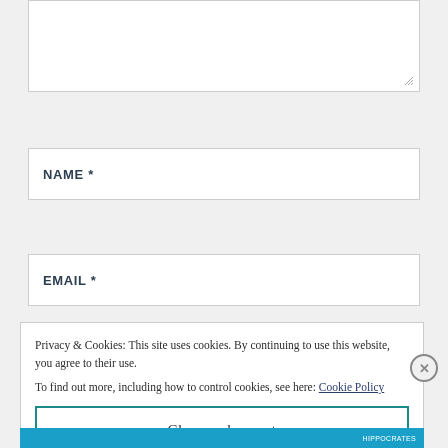[Figure (screenshot): White textarea input box with resize handle at bottom right]
NAME *
EMAIL *
Privacy & Cookies: This site uses cookies. By continuing to use this website, you agree to their use.
To find out more, including how to control cookies, see here: Cookie Policy
Close and accept